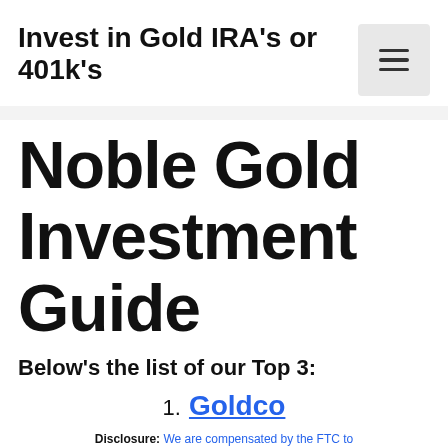Invest in Gold IRA's or 401k's
Noble Gold Investment Guide
Below’s the list of our Top 3:
1. Goldco
Disclosure: We are compensated by the FTC to